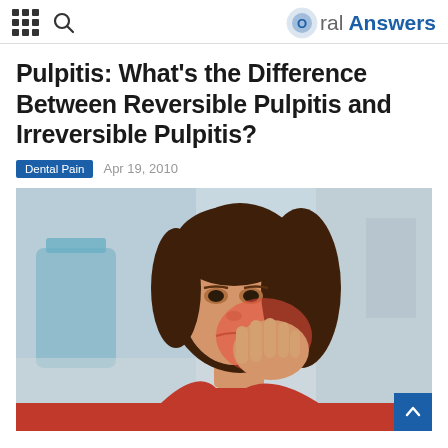Oral Answers
Pulpitis: What's the Difference Between Reversible Pulpitis and Irreversible Pulpitis?
Dental Pain   Apr 19, 2010
[Figure (photo): A woman in a red top grimacing and holding her hand to her jaw/cheek, with a red highlight on her cheek indicating dental pain. Dental office blurred in background.]